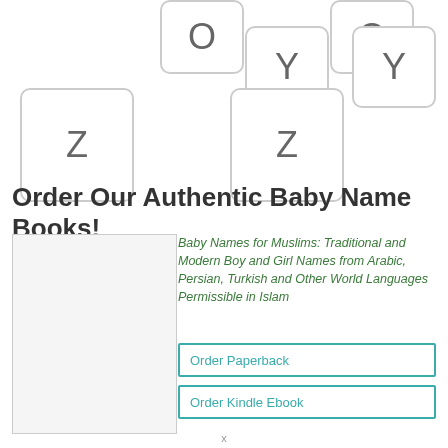[Figure (illustration): Keyboard tiles showing letters O, Y, Z arranged decoratively in two columns]
Order Our Authentic Baby Name Books!
[Figure (photo): Book cover image placeholder]
Baby Names for Muslims: Traditional and Modern Boy and Girl Names from Arabic, Persian, Turkish and Other World Languages Permissible in Islam
Order Paperback
Order Kindle Ebook
x